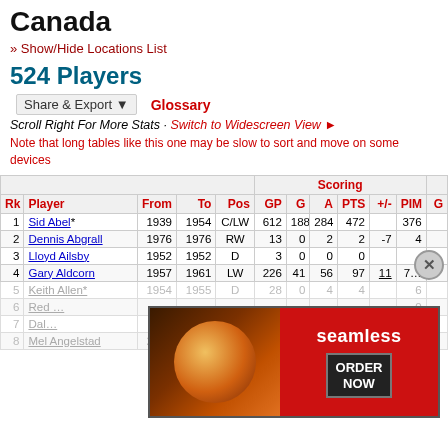Canada
» Show/Hide Locations List
524 Players
Share & Export ▼   Glossary
Scroll Right For More Stats · Switch to Widescreen View ►
Note that long tables like this one may be slow to sort and move on some devices
| Rk | Player | From | To | Pos | GP | G | A | PTS | +/- | PIM | G |
| --- | --- | --- | --- | --- | --- | --- | --- | --- | --- | --- | --- |
| 1 | Sid Abel* | 1939 | 1954 | C/LW | 612 | 188 | 284 | 472 |  | 376 |  |
| 2 | Dennis Abgrall | 1976 | 1976 | RW | 13 | 0 | 2 | 2 | -7 | 4 |  |
| 3 | Lloyd Ailsby | 1952 | 1952 | D | 3 | 0 | 0 | 0 |  |  |  |
| 4 | Gary Aldcorn | 1957 | 1961 | LW | 226 | 41 | 56 | 97 | 11 | 7… |  |
| 5 | Keith Allen* | 1954 | 1955 | D | 28 | 0 | 4 | 4 |  | 6 |  |
| 6 | Red … |  |  |  |  |  |  |  |  | 0 |  |
| 7 | Dal… |  |  |  |  |  |  |  |  | 6 |  |
| 8 | Mel Angelstad | 2004 | 2004 | LW | 2 | 0 | 0 | 0 | 0 | -2 |  |
[Figure (photo): Seamless food delivery advertisement banner]